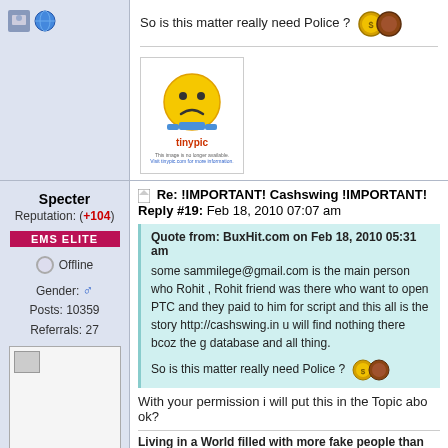So is this matter really need Police ?
[Figure (illustration): TinyPic sad face emoticon image placeholder]
Specter
Reputation: (+104)
EMS ELITE
Offline
Gender: Male Posts: 10359 Referrals: 27
[Figure (photo): User avatar placeholder image]
Re: !IMPORTANT! Cashswing !IMPORTANT! Reply #19: Feb 18, 2010 07:07 am
Quote from: BuxHit.com on Feb 18, 2010 05:31 am
some sammilege@gmail.com is the main person who Rohit , Rohit friend was there who want to open PTC and they paid to him for script and this all is the story http://cashswing.in u will find nothing there bcoz the g database and all thing.
So is this matter really need Police ?
With your permission i will put this in the Topic abo ok?
Living in a World filled with more fake people than masses don't feel me.